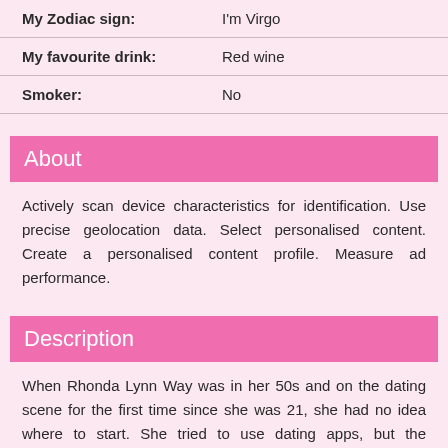My Zodiac sign: I'm Virgo
My favourite drink: Red wine
Smoker: No
About
Actively scan device characteristics for identification. Use precise geolocation data. Select personalised content. Create a personalised content profile. Measure ad performance.
Description
When Rhonda Lynn Way was in her 50s and on the dating scene for the first time since she was 21, she had no idea where to start. She tried to use dating apps, but the experience felt bizarre